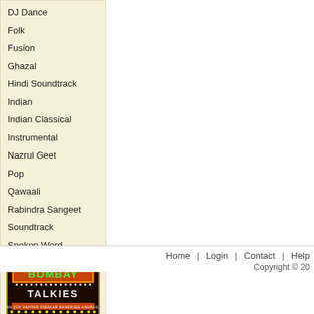DJ Dance
Folk
Fusion
Ghazal
Hindi Soundtrack
Indian
Indian Classical
Instrumental
Nazrul Geet
Pop
Qawaali
Rabindra Sangeet
Soundtrack
Spoken Word
[Figure (illustration): Bombay Talkies logo banner — dark background with orange and yellow illuminated marquee text reading BOMBAY TALKIES with decorative lights]
Home | Login | Contact | Help    Copyright © 20